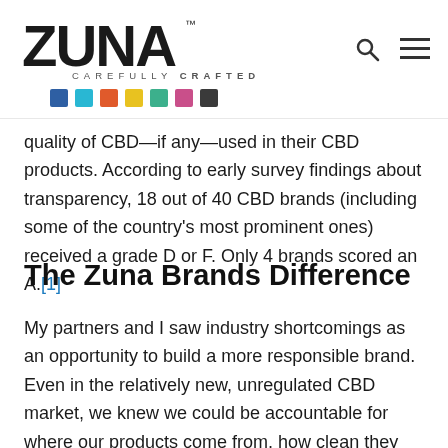ZUNA CAREFULLY CRAFTED
quality of CBD—if any—used in their CBD products. According to early survey findings about transparency, 18 out of 40 CBD brands (including some of the country's most prominent ones) received a grade D or F. Only 4 brands scored an A.[1]
The Zuna Brands Difference
My partners and I saw industry shortcomings as an opportunity to build a more responsible brand. Even in the relatively new, unregulated CBD market, we knew we could be accountable for where our products come from, how clean they are, and how they are sustainably